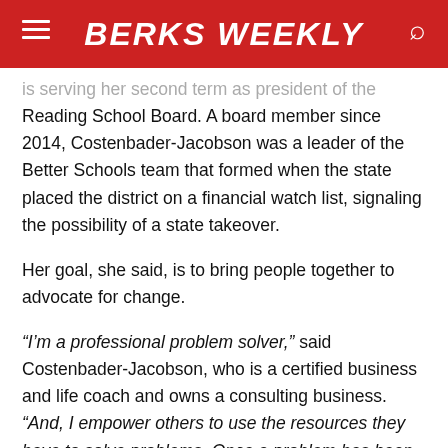BERKS WEEKLY
is serving her second term as president of the Reading School Board. A board member since 2014, Costenbader-Jacobson was a leader of the Better Schools team that formed when the state placed the district on a financial watch list, signaling the possibility of a state takeover.
Her goal, she said, is to bring people together to advocate for change.
“I’m a professional problem solver,” said Costenbader-Jacobson, who is a certified business and life coach and owns a consulting business. “And, I empower others to use the resources they have to solve problems. Once a problem has been identified, there’s always a way to solve it.”